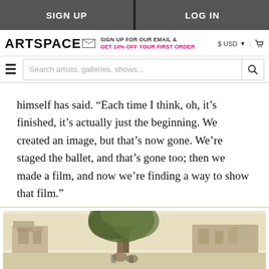SIGN UP | LOG IN
ARTSPACE — SIGN UP FOR OUR EMAIL & GET 10% OFF YOUR FIRST ORDER — $ USD | cart
Search artists, galleries, shows...
himself has said. “Each time I think, oh, it’s finished, it’s actually just the beginning. We created an image, but that’s now gone. We’re staged the ballet, and that’s gone too; then we made a film, and now we’re finding a way to show that film.”
[Figure (photo): A vintage or illustrated scene with trees and street/urban elements, partially visible at bottom of page.]